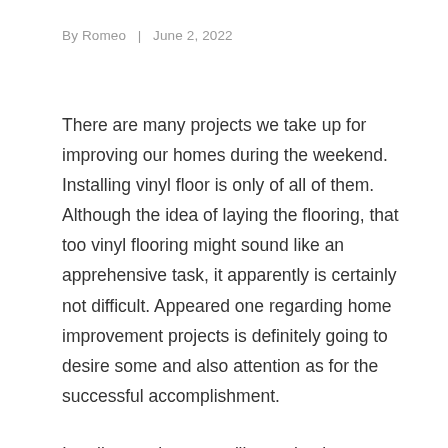By Romeo  |  June 2, 2022
There are many projects we take up for improving our homes during the weekend. Installing vinyl floor is only of all of them. Although the idea of laying the flooring, that too vinyl flooring might sound like an apprehensive task, it apparently is certainly not difficult. Appeared one regarding home improvement projects is definitely going to desire some and also attention as for the successful accomplishment.
In reliant on hours you'll completely transform the way a room looks by simply laying new Vinyl Flooring in them. However if area is